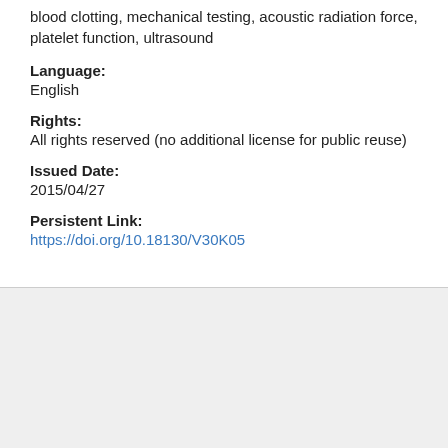blood clotting, mechanical testing, acoustic radiation force, platelet function, ultrasound
Language:
English
Rights:
All rights reserved (no additional license for public reuse)
Issued Date:
2015/04/27
Persistent Link:
https://doi.org/10.18130/V30K05